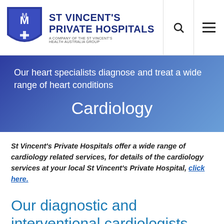[Figure (logo): St Vincent's Private Hospitals logo with shield emblem and hospital name]
Our heart specialists diagnose and treat a wide range of heart conditions
Cardiology
St Vincent's Private Hospitals offer a wide range of cardiology related services, for details of the cardiology services at your local St Vincent's Private Hospital, click here.
Our diagnostic and interventional cardiologists are